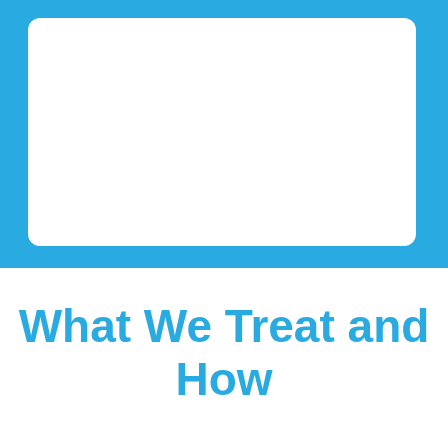[Figure (illustration): Blue rectangular frame/border graphic with rounded white interior box, serving as a decorative chapter divider element]
What We Treat and How